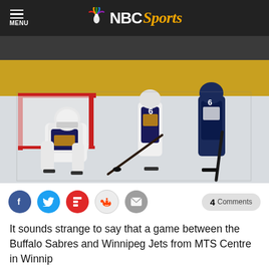NBC Sports
[Figure (photo): NHL hockey action photo: Buffalo Sabres goalie making a save near the net, with a Sabres player and a Winnipeg Jets player battling in front of the goal on ice.]
4 Comments
It sounds strange to say that a game between the Buffalo Sabres and Winnipeg Jets from MTS Centre in Winnip...